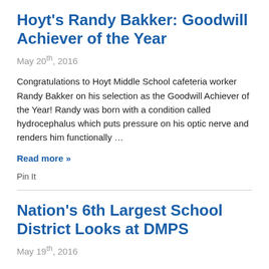Hoyt's Randy Bakker: Goodwill Achiever of the Year
May 20th, 2016
Congratulations to Hoyt Middle School cafeteria worker Randy Bakker on his selection as the Goodwill Achiever of the Year! Randy was born with a condition called hydrocephalus which puts pressure on his optic nerve and renders him functionally …
Read more »
Pin It
Nation's 6th Largest School District Looks at DMPS
May 19th, 2016